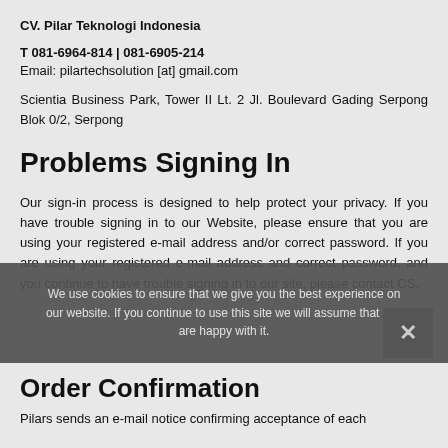CV. Pilar Teknologi Indonesia
T 081-6964-814 | 081-6905-214
Email: pilartechsolution [at] gmail.com
Scientia Business Park, Tower II Lt. 2 Jl. Boulevard Gading Serpong Blok 0/2, Serpong
Problems Signing In
Our sign-in process is designed to help protect your privacy. If you have trouble signing in to our Website, please ensure that you are using your registered e-mail address and/or correct password. If you are using your registered e-mail address and correct password, and you continue to have trouble signing in to our site, please contact CS.
We use cookies to ensure that we give you the best experience on our website. If you continue to use this site we will assume that you are happy with it.
Order Confirmation
Pilars sends an e-mail notice confirming acceptance of each